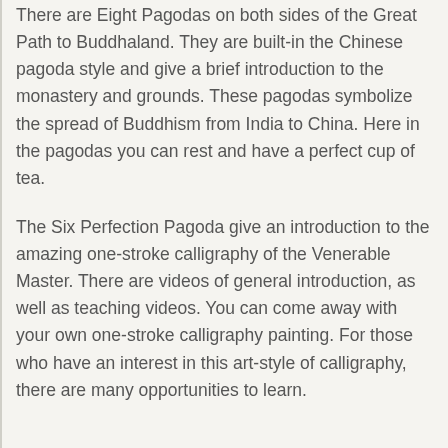There are Eight Pagodas on both sides of the Great Path to Buddhaland. They are built-in the Chinese pagoda style and give a brief introduction to the monastery and grounds. These pagodas symbolize the spread of Buddhism from India to China. Here in the pagodas you can rest and have a perfect cup of tea.
The Six Perfection Pagoda give an introduction to the amazing one-stroke calligraphy of the Venerable Master. There are videos of general introduction, as well as teaching videos. You can come away with your own one-stroke calligraphy painting. For those who have an interest in this art-style of calligraphy, there are many opportunities to learn.